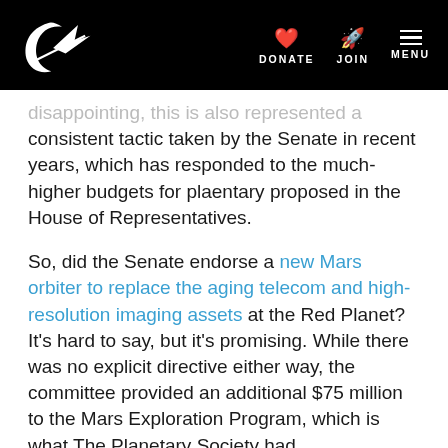Planetary Society website header with logo, DONATE, JOIN, MENU navigation
disappointing, this is also represented a consistent tactic taken by the Senate in recent years, which has responded to the much-higher budgets for plaentary proposed in the House of Representatives.
So, did the Senate endorse a new Mars orbiter to replace the aging telecom and high-resolution imaging assets at the Red Planet? It's hard to say, but it's promising. While there was no explicit directive either way, the committee provided an additional $75 million to the Mars Exploration Program, which is what The Planetary Society had